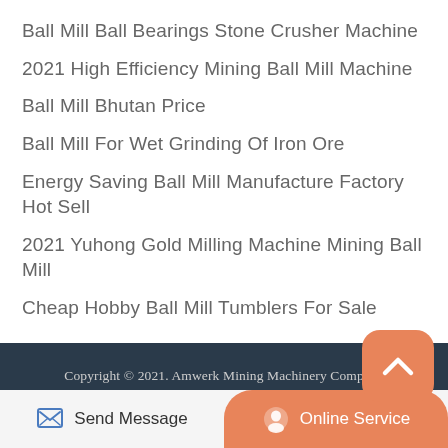Ball Mill Ball Bearings Stone Crusher Machine
2021 High Efficiency Mining Ball Mill Machine
Ball Mill Bhutan Price
Ball Mill For Wet Grinding Of Iron Ore
Energy Saving Ball Mill Manufacture Factory Hot Sell
2021 Yuhong Gold Milling Machine Mining Ball Mill
Cheap Hobby Ball Mill Tumblers For Sale
Copyright © 2021. Amwerk Mining Machinery Company
All rights reserved / Sitemap